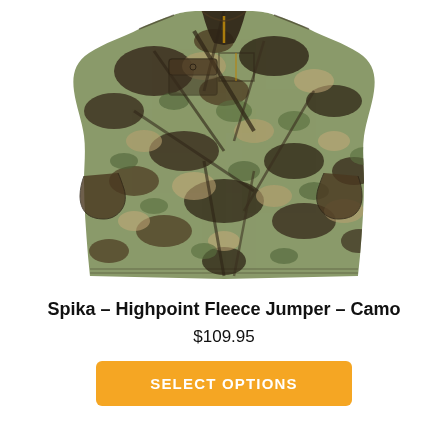[Figure (photo): A camouflage fleece jumper (Spika Highpoint Fleece Jumper in Camo pattern) displayed on a white background. The garment features a half-zip collar, chest pocket with flap, and long sleeves in a realistic tree/leaf camouflage print.]
Spika – Highpoint Fleece Jumper – Camo
$109.95
SELECT OPTIONS